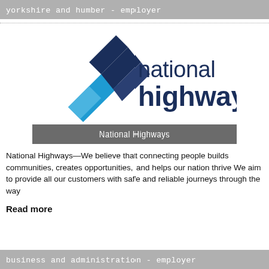yorkshire and humber - employer
[Figure (logo): National Highways logo with ribbon mark in blue and dark navy, and text 'national highways']
National Highways
National Highways—We believe that connecting people builds communities, creates opportunities, and helps our nation thrive We aim to provide all our customers with safe and reliable journeys through the way
Read more
business and administration - employer